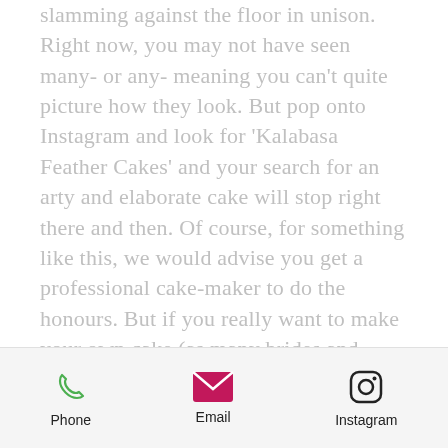slamming against the floor in unison. Right now, you may not have seen many- or any- meaning you can't quite picture how they look. But pop onto Instagram and look for 'Kalabasa Feather Cakes' and your search for an arty and elaborate cake will stop right there and then. Of course, for something like this, we would advise you get a professional cake-maker to do the honours. But if you really want to make your own cake (as many brides and grooms do), what you need to do is melt different coloured chocolates onto wax paper and use a quality paintbrush
Phone  Email  Instagram